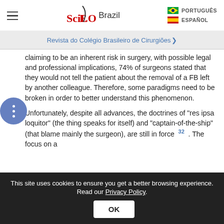[Figure (logo): SciELO Brazil logo with hamburger menu and language options (PORTUGUÊS, ESPAÑOL)]
Revista do Colégio Brasileiro de Cirurgiões
claiming to be an inherent risk in surgery, with possible legal and professional implications, 74% of surgeons stated that they would not tell the patient about the removal of a FB left by another colleague. Therefore, some paradigms need to be broken in order to better understand this phenomenon.
Unfortunately, despite all advances, the doctrines of "res ipsa loquitor" (the thing speaks for itself) and "captain-of-the-ship" (that blame mainly the surgeon), are still in force 32 . The focus on a
This site uses cookies to ensure you get a better browsing experience. Read our Privacy Policy.